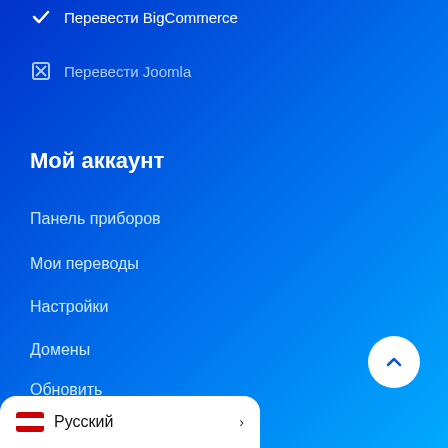✓ Перевести BigCommerce
✗ Перевести Joomla
Мой аккаунт
Панель приборов
Мои переводы
Настройки
Домены
Обновить
Помощь и поддержка
Русский